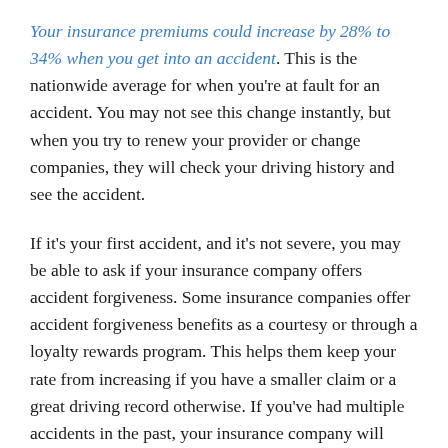Your insurance premiums could increase by 28% to 34% when you get into an accident. This is the nationwide average for when you're at fault for an accident. You may not see this change instantly, but when you try to renew your provider or change companies, they will check your driving history and see the accident.
If it's your first accident, and it's not severe, you may be able to ask if your insurance company offers accident forgiveness. Some insurance companies offer accident forgiveness benefits as a courtesy or through a loyalty rewards program. This helps them keep your rate from increasing if you have a smaller claim or a great driving record otherwise. If you've had multiple accidents in the past, your insurance company will likely not be willing to